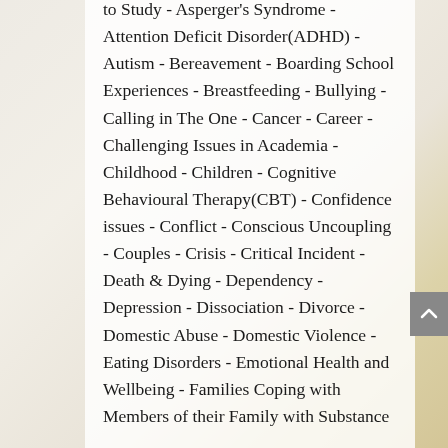to Study - Asperger's Syndrome - Attention Deficit Disorder(ADHD) - Autism - Bereavement - Boarding School Experiences - Breastfeeding - Bullying - Calling in The One - Cancer - Career - Challenging Issues in Academia - Childhood - Children - Cognitive Behavioural Therapy(CBT) - Confidence issues - Conflict - Conscious Uncoupling - Couples - Crisis - Critical Incident - Death & Dying - Dependency - Depression - Dissociation - Divorce - Domestic Abuse - Domestic Violence - Eating Disorders - Emotional Health and Wellbeing - Families Coping with Members of their Family with Substance